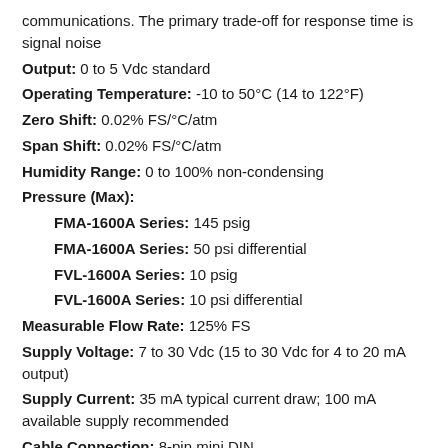communications. The primary trade-off for response time is signal noise
Output: 0 to 5 Vdc standard
Operating Temperature: -10 to 50°C (14 to 122°F)
Zero Shift: 0.02% FS/°C/atm
Span Shift: 0.02% FS/°C/atm
Humidity Range: 0 to 100% non-condensing
Pressure (Max):
FMA-1600A Series: 145 psig
FMA-1600A Series: 50 psi differential
FVL-1600A Series: 10 psig
FVL-1600A Series: 10 psi differential
Measurable Flow Rate: 125% FS
Supply Voltage: 7 to 30 Vdc (15 to 30 Vdc for 4 to 20 mA output)
Supply Current: 35 mA typical current draw; 100 mA available supply recommended
Cable Connection: 8-pin mini DIN
Wetted Parts: 303 & 302 Stainless Steel, FKM Heat Cured